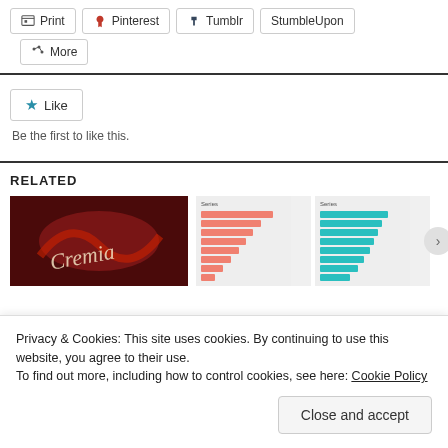[Figure (screenshot): Row of social share buttons: Print, Pinterest, Tumblr, StumbleUpon]
[Figure (screenshot): More share button with share icon]
[Figure (screenshot): Like button with blue star icon]
Be the first to like this.
RELATED
[Figure (photo): Red decorative image with cursive text (Cremia)]
[Figure (bar-chart): Two side-by-side horizontal bar charts, one with salmon/red bars and one with teal bars]
Privacy & Cookies: This site uses cookies. By continuing to use this website, you agree to their use.
To find out more, including how to control cookies, see here: Cookie Policy
Close and accept